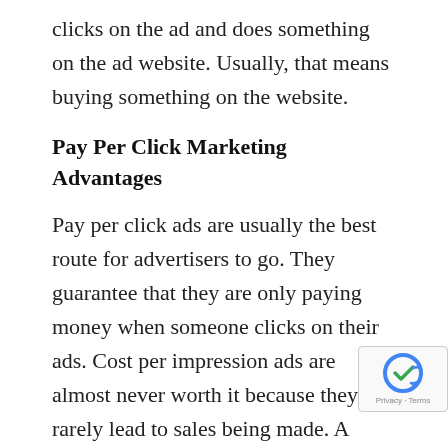clicks on the ad and does something on the ad website. Usually, that means buying something on the website.
Pay Per Click Marketing Advantages
Pay per click ads are usually the best route for advertisers to go. They guarantee that they are only paying money when someone clicks on their ads. Cost per impression ads are almost never worth it because they rarely lead to sales being made. A website might have 100,000 views, but your ad might be consistently overlooked if people who are visiting the website aren't looking for what's being offered.